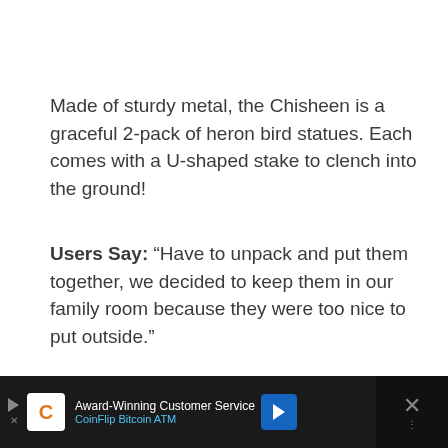Made of sturdy metal, the Chisheen is a graceful 2-pack of heron bird statues. Each comes with a U-shaped stake to clench into the ground!
Users Say: “Have to unpack and put them together, we decided to keep them in our family room because they were too nice to put outside.”
6. Top Collection
Aston Fair...
[Figure (other): Advertisement banner for CoinFlip Bitcoin ATM with award-winning customer service text]